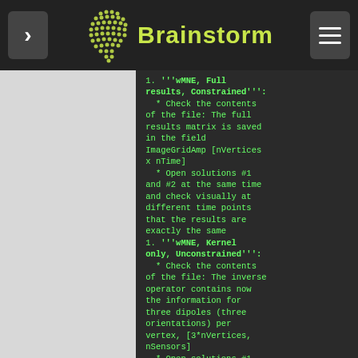Brainstorm
1. '''wMNE, Full results, Constrained''':
   * Check the contents of the file: The full results matrix is saved in the field ImageGridAmp [nVertices x nTime]
   * Open solutions #1 and #2 at the same time and check visually at different time points that the results are exactly the same
1. '''wMNE, Kernel only, Unconstrained''':
   * Check the contents of the file: The inverse operator contains now the information for three dipoles (three orientations) per vertex, [3*nVertices, nSensors]
   * Open solutions #1